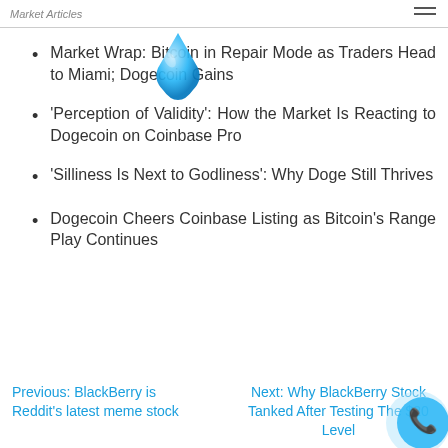Market Articles
Market Wrap: Bitcoin in Repair Mode as Traders Head to Miami; Dogecoin Gains
'Perception of Validity': How the Market Is Reacting to Dogecoin on Coinbase Pro
'Silliness Is Next to Godliness': Why Doge Still Thrives
Dogecoin Cheers Coinbase Listing as Bitcoin's Range Play Continues
Previous: BlackBerry is Reddit's latest meme stock
Next: Why BlackBerry Stock Tanked After Testing The $20 Level